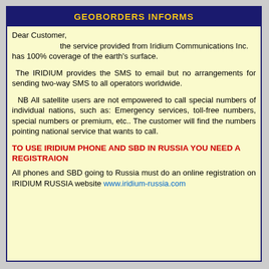GEOBORDERS INFORMS
Dear Customer,
            the service provided from Iridium Communications Inc. has 100% coverage of the earth's surface.
The IRIDIUM provides the SMS to email but no arrangements for sending two-way SMS to all operators worldwide.
NB All satellite users are not empowered to call special numbers of individual nations, such as: Emergency services, toll-free numbers, special numbers or premium, etc.. The customer will find the numbers pointing national service that wants to call.
TO USE IRIDIUM PHONE AND SBD IN RUSSIA YOU NEED A REGISTRAION
All phones and SBD going to Russia must do an online registration on IRIDIUM RUSSIA website www.iridium-russia.com